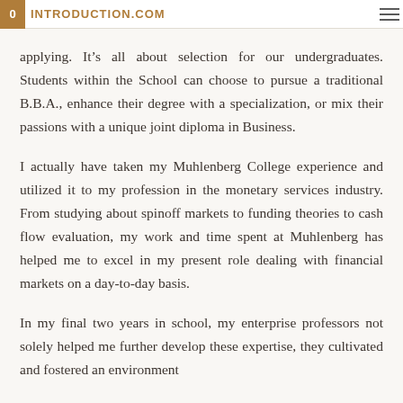INTRODUCTION.COM
applying. It's all about selection for our undergraduates. Students within the School can choose to pursue a traditional B.B.A., enhance their degree with a specialization, or mix their passions with a unique joint diploma in Business.
I actually have taken my Muhlenberg College experience and utilized it to my profession in the monetary services industry. From studying about spinoff markets to funding theories to cash flow evaluation, my work and time spent at Muhlenberg has helped me to excel in my present role dealing with financial markets on a day-to-day basis.
In my final two years in school, my enterprise professors not solely helped me further develop these expertise, they cultivated and fostered an environment